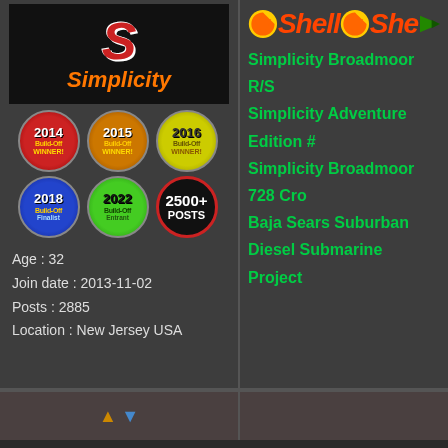[Figure (logo): Simplicity brand logo with large italic red S on black background and orange italic text 'Simplicity']
[Figure (infographic): Six circular badges: 2014 Build-Off Winner (red), 2015 Build-Off Winner (orange), 2016 Build-Off Winner (yellow), 2018 Build-Off Finalist (blue), 2022 Build-Off Entrant (green), 2500+ Posts badge (black/red)]
Age : 32
Join date : 2013-11-02
Posts : 2885
Location : New Jersey USA
[Figure (logo): Shell logo icons repeated with Shell text in red italic, followed by green arrow triangle]
Simplicity Broadmoor R/S
Simplicity Adventure Edition #
Simplicity Broadmoor 728 Cro
Baja Sears Suburban
Diesel Submarine Project
[Figure (illustration): Facebook-style like button]
↑ ↓ navigation arrows
mr.modified
Core Member
[Figure (illustration): Five green tractor star icons, one dim]
Team
Subject: Re: Mr.Modified's Simpli
October 9th 2019, 10:51 pm

Here's a screen shot from the
stones in the ground with a n